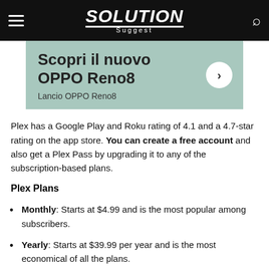Solution Suggest
[Figure (illustration): Advertisement banner with teal/green background showing 'Scopri il nuovo OPPO Reno8' with arrow button and 'Lancio OPPO Reno8' subtitle]
Plex has a Google Play and Roku rating of 4.1 and a 4.7-star rating on the app store. You can create a free account and also get a Plex Pass by upgrading it to any of the subscription-based plans.
Plex Plans
Monthly: Starts at $4.99 and is the most popular among subscribers.
Yearly: Starts at $39.99 per year and is the most economical of all the plans.